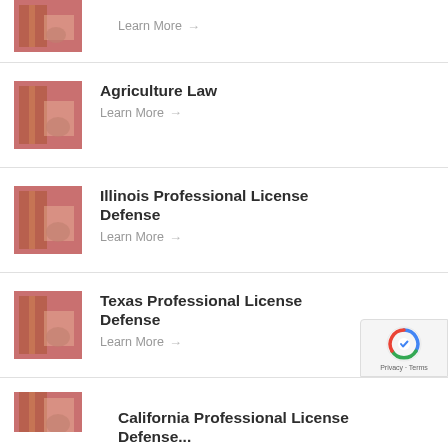Learn More →
Agriculture Law — Learn More →
Illinois Professional License Defense — Learn More →
Texas Professional License Defense — Learn More →
California Professional License Defense (partial)